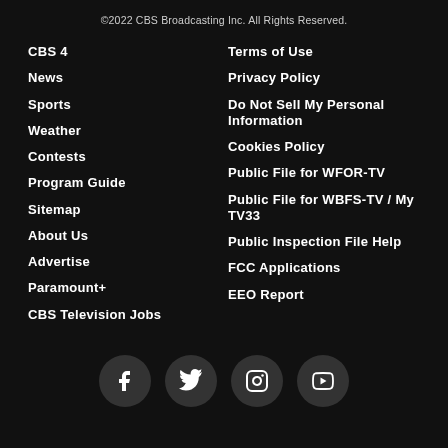©2022 CBS Broadcasting Inc. All Rights Reserved.
CBS 4
News
Sports
Weather
Contests
Program Guide
Sitemap
About Us
Advertise
Paramount+
CBS Television Jobs
Terms of Use
Privacy Policy
Do Not Sell My Personal Information
Cookies Policy
Public File for WFOR-TV
Public File for WBFS-TV / My TV33
Public Inspection File Help
FCC Applications
EEO Report
[Figure (infographic): Social media icons: Facebook, Twitter, Instagram, YouTube — white icons on dark gray circles]